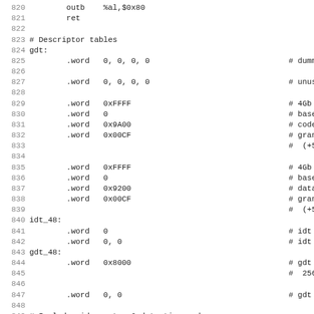Assembly source code lines 820-851, showing x86 GDT/IDT descriptor table setup
820  outb  %al,$0x80
821  ret
822
823 # Descriptor tables
824 gdt:
825      .word  0, 0, 0, 0   # dummy
826
827      .word  0, 0, 0, 0   # unused
828
829      .word  0xFFFF        # 4Gb -
830      .word  0             # base
831      .word  0x9A00        # code
832      .word  0x00CF        # gran
833                           # (+5t
834
835      .word  0xFFFF        # 4Gb -
836      .word  0             # base
837      .word  0x9200        # data
838      .word  0x00CF        # gran
839                           # (+5t
840 idt_48:
841      .word  0             # idt l
842      .word  0, 0          # idt b
843 gdt_48:
844      .word  0x8000        # gdt l
845                           # 256
846
847      .word  0, 0          # gdt b
848
849 # Include video setup & detection code
850
851 #include "video.S"